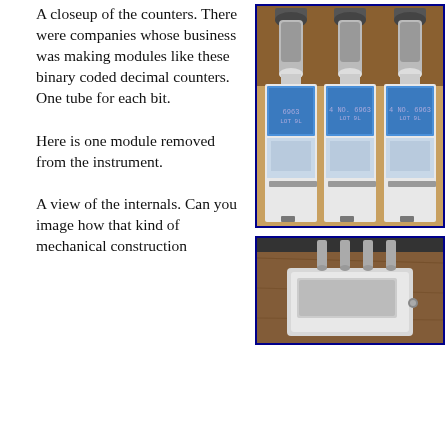A closeup of the counters. There were companies whose business was making modules like these binary coded decimal counters. One tube for each bit.
[Figure (photo): Closeup photograph of binary coded decimal counter modules showing vacuum tubes inserted into white rectangular housing units with blue labels. Three tubes visible on top of each module.]
Here is one module removed from the instrument.
[Figure (photo): Photograph of a single counter module removed from instrument, showing four vacuum tubes on top of a white rectangular metal casing, placed on a wooden surface.]
A view of the internals. Can you image how that kind of mechanical construction